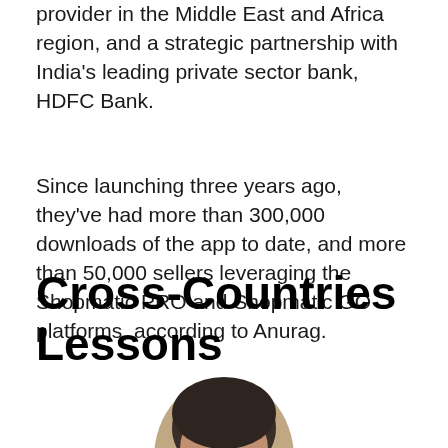provider in the Middle East and Africa region, and a strategic partnership with India's leading private sector bank, HDFC Bank.
Since launching three years ago, they've had more than 300,000 downloads of the app to date, and more than 50,000 sellers leveraging the Shopmatic PRO and Shopmatic GO platforms, according to Anurag.
Cross-Countries Lessons
[Figure (photo): Portrait photo of a man, showing the top of the head, partially cropped at the bottom of the page]